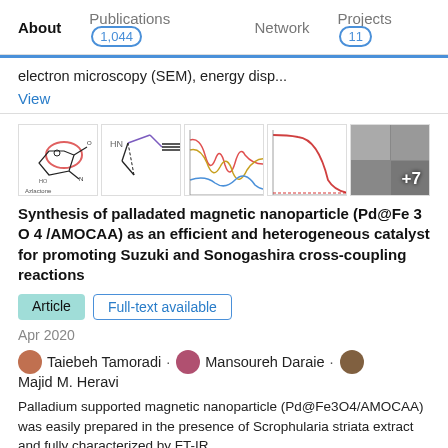About | Publications 1,044 | Network | Projects 11
electron microscopy (SEM), energy disp...
View
[Figure (illustration): Row of 5 figures: chemical structure (Azlactone), molecular diagram, IR/spectral chart, TGA/thermal curve, SEM microscopy images grid with +7 overlay]
Synthesis of palladated magnetic nanoparticle (Pd@Fe 3 O 4 /AMOCAA) as an efficient and heterogeneous catalyst for promoting Suzuki and Sonogashira cross-coupling reactions
Article   Full-text available
Apr 2020
Taiebeh Tamoradi · Mansoureh Daraie · Majid M. Heravi
Palladium supported magnetic nanoparticle (Pd@Fe3O4/AMOCAA) was easily prepared in the presence of Scrophularia striata extract and fully characterized by FT-IR,